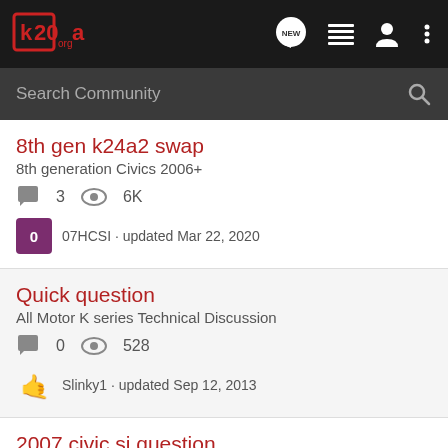k20a.org community forum header with logo and navigation icons
Search Community
8th gen k24a2 swap
8th generation Civics 2006+
3 replies · 6K views
07HCSI · updated Mar 22, 2020
Quick question
All Motor K series Technical Discussion
0 replies · 528 views
Slinky1 · updated Sep 12, 2013
2007 civic si question....